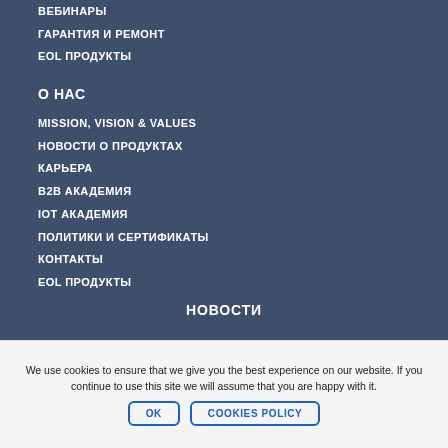ВЕБИНАРЫ
ГАРАНТИЯ И РЕМОНТ
EOL ПРОДУКТЫ
О НАС
MISSION, VISION & VALUES
НОВОСТИ О ПРОДУКТАХ
КАРЬЕРА
B2B АКАДЕМИЯ
IoT АКАДЕМИЯ
ПОЛИТИКИ И СЕРТИФИКАТЫ
КОНТАКТЫ
EOL ПРОДУКТЫ
НОВОСТИ
We use cookies to ensure that we give you the best experience on our website. If you continue to use this site we will assume that you are happy with it.